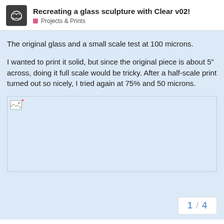Recreating a glass sculpture with Clear v02! — Projects & Prints
The original glass and a small scale test at 100 microns.
I wanted to print it solid, but since the original piece is about 5" across, doing it full scale would be tricky. After a half-scale print turned out so nicely, I tried again at 75% and 50 microns.
[Figure (photo): Image placeholder for a photo of glass sculpture prints]
1 / 4